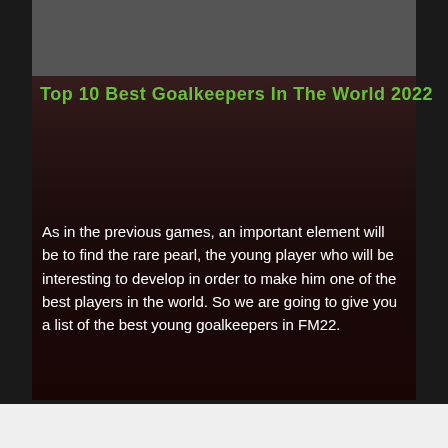[Figure (photo): Dark background image placeholder at the top of the content area]
Top 10 Best Goalkeepers In The World 2022
As in the previous games, an important element will be to find the rare pearl, the young player who will be interesting to develop in order to make him one of the best players in the world. So we are going to give you a list of the best young goalkeepers in FM22.